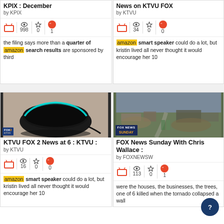KPIX : December by KPIX | 998 views | 0 stars | 1 quote
News on KTVU FOX by KTVU | 34 views | 0 stars | 0 quotes
the filing says more than a quarter of amazon search results are sponsored by third
amazon smart speaker could do a lot, but kristin lived all never thought it would encourage her 10
[Figure (photo): Amazon Echo Dot smart speaker on a table, with cyan LED ring lit, FOX2 watermark in corner]
[Figure (photo): Aerial view of tornado damage area, debris and destroyed buildings, FOX NEWS SUNDAY watermark]
KTVU FOX 2 News at 6 : KTVU : by KTVU | 16 views | 0 stars | 0 quotes
FOX News Sunday With Chris Wallace : by FOXNEWSW | 113 views | 0 stars | 1 quote
amazon smart speaker could do a lot, but kristin lived all never thought it would encourage her 10
were the houses, the businesses, the trees, one of 6 killed when the tornado collapsed a wall